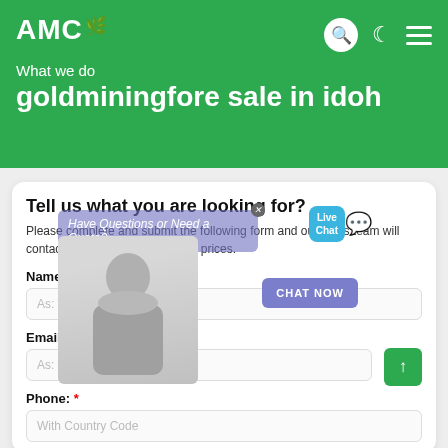AMC
What we do
goldminingfore sale in idoh
Tell us what you are looking for?
Please complete and submit the following form and our sales team will contact you shortly with our best prices.
[Figure (photo): Live chat overlay with customer service representative photo, 'Have Questions or Need a Quote?' chat bubble, CHAT NOW button, and Live Chat speech bubble icon]
Name: *
As: Tom
Email: *
As: vip@shanghaimeilan.com
Phone: *
With Country Code